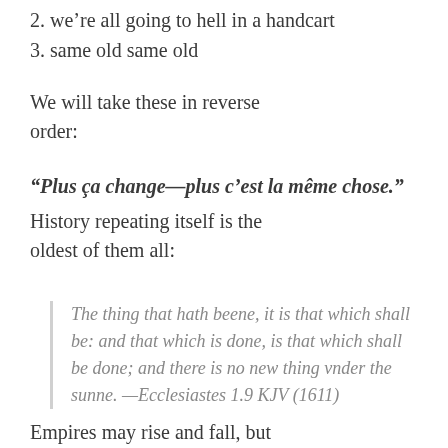2. we're all going to hell in a handcart
3. same old same old
We will take these in reverse order:
“Plus ça change—plus c’est la même chose.”
History repeating itself is the oldest of them all:
The thing that hath beene, it is that which shall be: and that which is done, is that which shall be done; and there is no new thing vnder the sunne. —Ecclesiastes 1.9 KJV (1611)
Empires may rise and fall, but